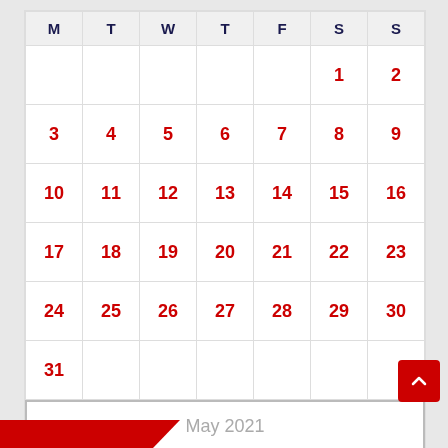| M | T | W | T | F | S | S |
| --- | --- | --- | --- | --- | --- | --- |
|  |  |  |  |  | 1 | 2 |
| 3 | 4 | 5 | 6 | 7 | 8 | 9 |
| 10 | 11 | 12 | 13 | 14 | 15 | 16 |
| 17 | 18 | 19 | 20 | 21 | 22 | 23 |
| 24 | 25 | 26 | 27 | 28 | 29 | 30 |
| 31 |  |  |  |  |  |  |
May 2021
« Apr   Jun »